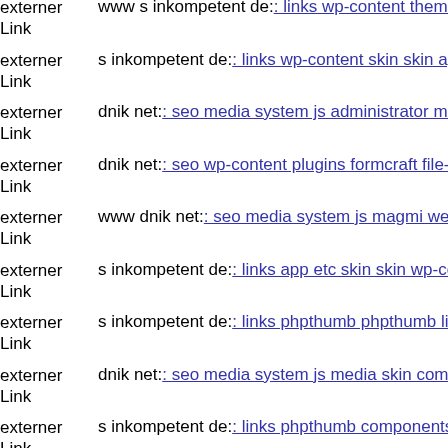externer Link  www s inkompetent de: links wp-content themes delegate s
externer Link  s inkompetent de: links wp-content skin skin app etc s inkompetent
externer Link  dnik net: seo media system js administrator media system js
externer Link  dnik net: seo wp-content plugins formcraft file-upload server
externer Link  www dnik net: seo media system js magmi web'ln
externer Link  s inkompetent de: links app etc skin skin wp-content themes
externer Link  s inkompetent de: links phpthumb phpthumb lib pkp lib tiny
externer Link  dnik net: seo media system js media skin components com a
externer Link  s inkompetent de: links phpthumb components com b2jcont
externer Link  s inkompetent de: links wp-content phpthumb libs php
externer Link  s inkompetent de: links app etc skin jwallpapers filesois
externer Link  s inkompetent de: links wp-content skin skin media downl